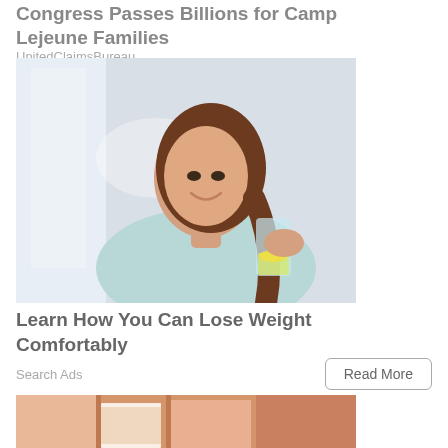Congress Passes Billions for Camp Lejeune Families
UnitedClaimsBureau
[Figure (photo): A smiling young woman with long brown hair wearing a light blue sweater, holding a glass of water with lemon slices and mint leaves, photographed against a bright background.]
Learn How You Can Lose Weight Comfortably
Search Ads
Read More
[Figure (illustration): Partial view of a peach/salmon colored architectural or interior design illustration showing building or furniture elements.]